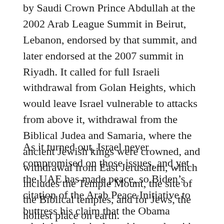by Saudi Crown Prince Abdullah at the 2002 Arab League Summit in Beirut, Lebanon, endorsed by that summit, and later endorsed at the 2007 summit in Riyadh. It called for full Israeli withdrawal from Golan Heights, which would leave Israel vulnerable to attacks from above it, withdrawal from the Biblical Judea and Samaria, where the ancient Jewish kings were crowned, and withdrawal from East Jerusalem, which includes the Temple Mount, the site of the Biblical temples, and for Jews, the holiest place on earth.
As it turned out, Israel never compromised on those issues, and yet the UAE has made peace, so Biden’s citation of the Arab Peace Initiative to buttress his claim that the Obama administration had anything to do with the deal is ludicrous.